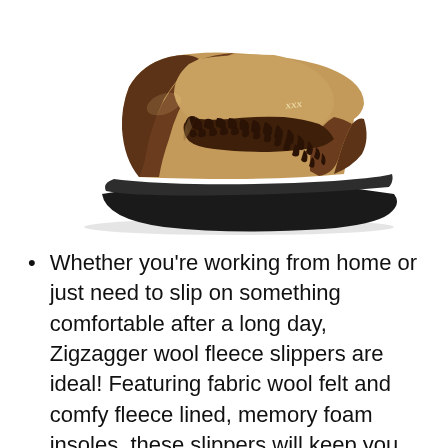[Figure (photo): A brown wool felt slipper with dark brown suede toe and heel accents, fleece-lined collar, and dark rubber outsole. The slipper is shown from a side-angle view on a white background. A small logo mark appears on the side.]
Whether you're working from home or just need to slip on something comfortable after a long day, Zigzagger wool fleece slippers are ideal! Featuring fabric wool felt and comfy fleece lined, memory foam insoles, these slippers will keep you cozy for hours. No itchy or scratchy materials and no stinky feet, thanks to